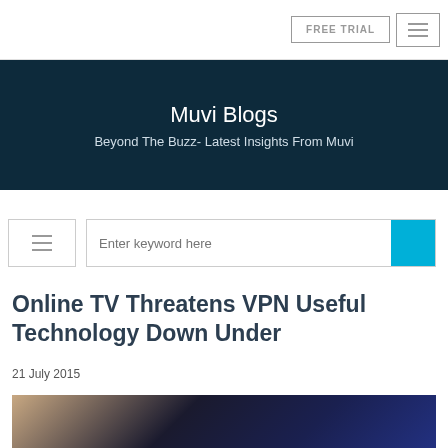FREE TRIAL
Muvi Blogs
Beyond The Buzz- Latest Insights From Muvi
[Figure (screenshot): Search toolbar with hamburger menu button on the left and a search field with cyan search button on the right showing placeholder text 'Enter keyword here']
Online TV Threatens VPN Useful Technology Down Under
21 July 2015
[Figure (photo): Blurred photo of a smartphone or tablet device with a dark background, partially visible screen with blue tones]